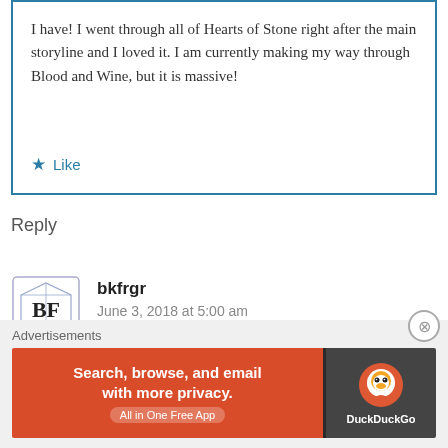I have! I went through all of Hearts of Stone right after the main storyline and I loved it. I am currently making my way through Blood and Wine, but it is massive!
★ Like
Reply
[Figure (logo): Avatar icon with stylized BF initials in a cube/box illustration]
bkfrgr
June 3, 2018 at 5:00 am
Advertisements
[Figure (screenshot): DuckDuckGo advertisement banner: 'Search, browse, and email with more privacy. All in One Free App' with DuckDuckGo logo on dark background]